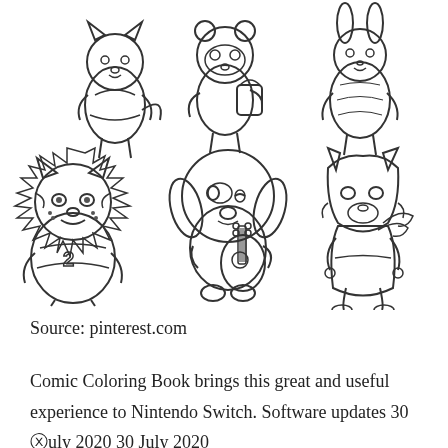[Figure (illustration): Six Animal Crossing character coloring book outlines arranged in two rows of three. Top row: a cat/fox character in a dress, a raccoon/bear character with a bag, and a rabbit/cat character in patterned clothes. Bottom row: a tiger character wearing a shirt with '2', a dog character playing guitar (KK Slider), and a wolf/dog character standing.]
Source: pinterest.com
Comic Coloring Book brings this great and useful experience to Nintendo Switch. Software updates 30 ⓧuly 2020 30 July 2020